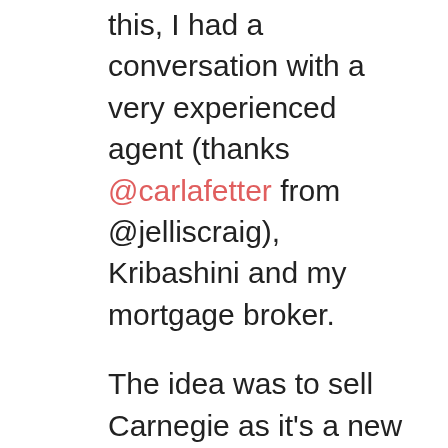this, I had a conversation with a very experienced agent (thanks @carlafetter from @jelliscraig), Kribashini and my mortgage broker.
The idea was to sell Carnegie as it's a new build apartment (in hindsight a very poor investment – but I didn't have all the intel I do now) as the costs of running it ie. body corp fees, agent fees etc would start to outweigh the offsets and rent I would earn on it. The thing is, I've found out (with the help of my very smart (and honest) mortgage broker) and running through a few feasibilities, that it's not actually worth selling. It provides more